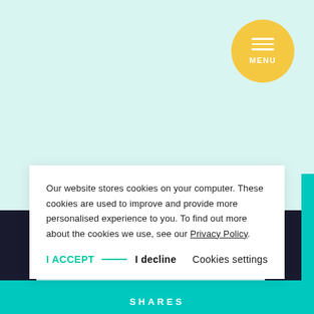[Figure (screenshot): Website screenshot showing a light cyan/mint background with a yellow circular menu button in the top right, a cyan vertical bar on the right side, a cookie consent banner overlay in the lower center, dark blocks flanking the banner, a cyan footer bar, and a 'SHARES' text at the bottom.]
Our website stores cookies on your computer. These cookies are used to improve and provide more personalised experience to you. To find out more about the cookies we use, see our Privacy Policy.
I ACCEPT
I decline
Cookies settings
SHARES